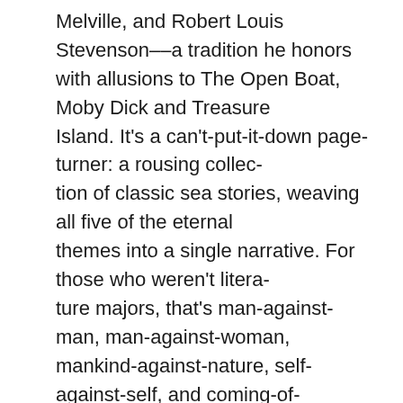Melville, and Robert Louis Stevenson––a tradition he honors with allusions to The Open Boat, Moby Dick and Treasure Island. It's a can't-put-it-down page-turner: a rousing collec-tion of classic sea stories, weaving all five of the eternal themes into a single narrative. For those who weren't litera-ture majors, that's man-against-man, man-against-woman, mankind-against-nature, self-against-self, and coming-of-age. It's the story of a young man who matures through der-ring-do in naval battle, growing into the command of a fleet and leadership of a crusade while more awkwardly